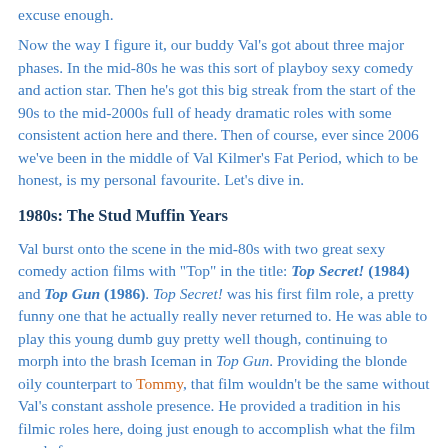excuse enough.
Now the way I figure it, our buddy Val's got about three major phases. In the mid-80s he was this sort of playboy sexy comedy and action star. Then he's got this big streak from the start of the 90s to the mid-2000s full of heady dramatic roles with some consistent action here and there. Then of course, ever since 2006 we've been in the middle of Val Kilmer's Fat Period, which to be honest, is my personal favourite. Let's dive in.
1980s: The Stud Muffin Years
Val burst onto the scene in the mid-80s with two great sexy comedy action films with "Top" in the title: Top Secret! (1984) and Top Gun (1986). Top Secret! was his first film role, a pretty funny one that he actually really never returned to. He was able to play this young dumb guy pretty well though, continuing to morph into the brash Iceman in Top Gun. Providing the blonde oily counterpart to Tommy, that film wouldn't be the same without Val's constant asshole presence. He provided a tradition in his filmic roles here, doing just enough to accomplish what the film needs from